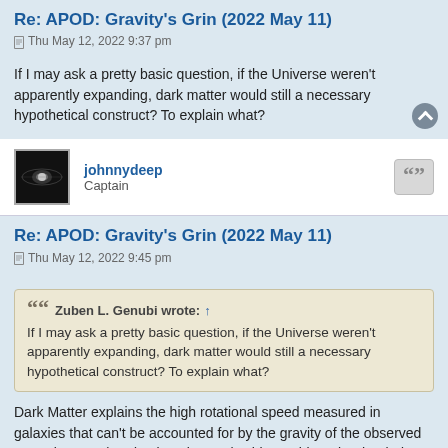Re: APOD: Gravity's Grin (2022 May 11)
Thu May 12, 2022 9:37 pm
If I may ask a pretty basic question, if the Universe weren't apparently expanding, dark matter would still a necessary hypothetical construct? To explain what?
johnnydeep
Captain
Re: APOD: Gravity's Grin (2022 May 11)
Thu May 12, 2022 9:45 pm
Zuben L. Genubi wrote: ↑
If I may ask a pretty basic question, if the Universe weren't apparently expanding, dark matter would still a necessary hypothetical construct? To explain what?
Dark Matter explains the high rotational speed measured in galaxies that can't be accounted for by the gravity of the observed normal matter (predominantly stars). This "problem" is what led to dark matter being hypothesized in the first place.